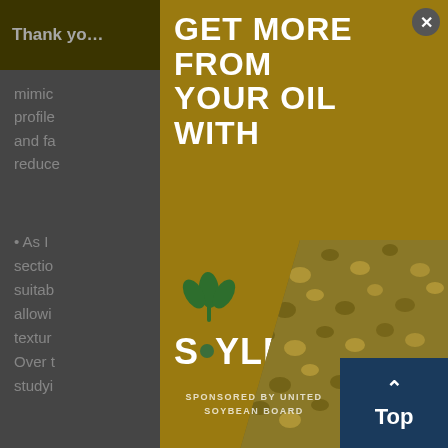Thank you... tools you
mimic... flavor profile... water- and fa... s and reduce...
• As I... section... re suitab... allowin... g the textur... Over t... studyi...
[Figure (advertisement): Soyleic advertisement popup overlay with gold background showing 'GET MORE FROM YOUR OUR OIL WITH' headline, Soyleic logo with green leaf, and soybean texture photo. Sponsored by United Soybean Board.]
GET MORE FROM YOUR OIL WITH
SPONSORED BY UNITED SOYBEAN BOARD